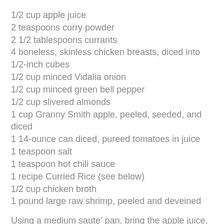1/2 cup apple juice
2 teaspoons curry powder
2 1/2 tablespoons currants
4 boneless, skinless chicken breasts, diced into 1/2-inch cubes
1/2 cup minced Vidalia onion
1/2 cup minced green bell pepper
1/2 cup slivered almonds
1 cup Granny Smith apple, peeled, seeded, and diced
1 14-ounce can diced, pureed tomatoes in juice
1 teaspoon salt
1 teaspoon hot chili sauce
1 recipe Curried Rice (see below)
1/2 cup chicken broth
1 pound large raw shrimp, peeled and deveined
Using a medium saute’ pan, bring the apple juice, curry powder, and currants to medium warm. Add the diced chicken and set aside to marinate.
Preheat the oven to 350 degrees F. In a large, lidded